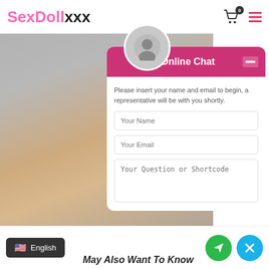SexDollxxx
[Figure (screenshot): Online chat widget overlay on an e-commerce website showing a live chat form with fields for Your Name, Your Email, and Your Question or Shortcode]
Please insert your name and email to begin, a representative will be with you shortly.
Your Name
Your Email
Your Question or Shortcode
English | May Also Want To Know